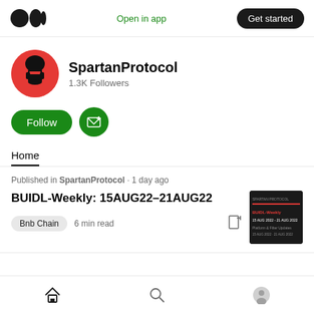Open in app  Get started
[Figure (logo): Medium logo - three stacked circles]
SpartanProtocol
1.3K Followers
Follow
Home
Published in SpartanProtocol · 1 day ago
BUIDL-Weekly: 15AUG22–21AUG22
Bnb Chain  6 min read
[Figure (screenshot): Article thumbnail for BUIDL-Weekly 15AUG22-21AUG22 showing dark background with red and white text]
Home  Search  Profile